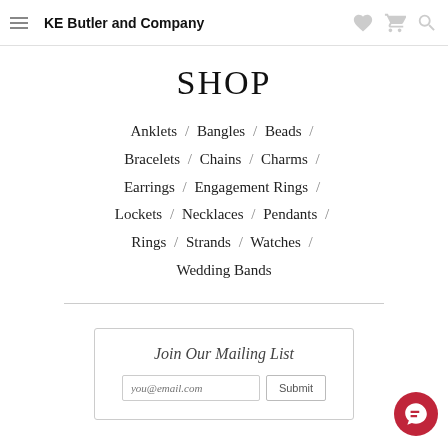KE Butler and Company
SHOP
Anklets / Bangles / Beads /
Bracelets / Chains / Charms /
Earrings / Engagement Rings /
Lockets / Necklaces / Pendants /
Rings / Strands / Watches /
Wedding Bands
Join Our Mailing List
you@email.com  Submit